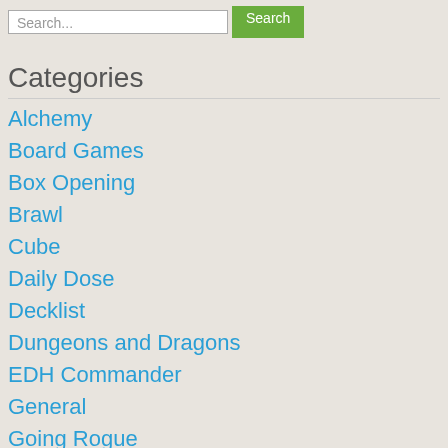[Figure (screenshot): Search bar with text input field showing 'Search...' placeholder and a green 'Search' button]
Categories
Alchemy
Board Games
Box Opening
Brawl
Cube
Daily Dose
Decklist
Dungeons and Dragons
EDH Commander
General
Going Rogue
Guide
Historic